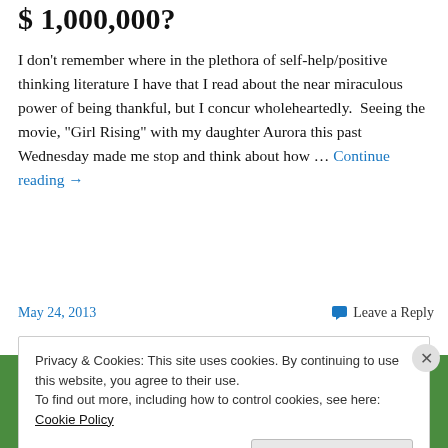$ 1,000,000?
I don't remember where in the plethora of self-help/positive thinking literature I have that I read about the near miraculous power of being thankful, but I concur wholeheartedly.  Seeing the movie, "Girl Rising" with my daughter Aurora this past Wednesday made me stop and think about how … Continue reading →
May 24, 2013
Leave a Reply
Privacy & Cookies: This site uses cookies. By continuing to use this website, you agree to their use.
To find out more, including how to control cookies, see here: Cookie Policy
Close and accept